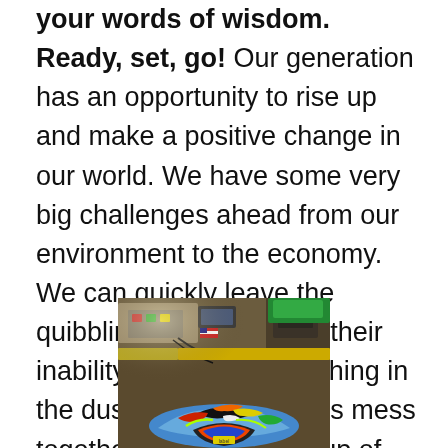your words of wisdom.  Ready, set, go! Our generation has an opportunity to rise up and make a positive change in our world. We have some very big challenges ahead from our environment to the economy. We can quickly leave the quibbling politicians and their inability to agree on anything in the dust and clean up this mess together as a united group of people with heart and soul. These are new times in which we live so we cannot rely on waiting simply for things to get better. Take action!
[Figure (photo): Photo of colorful clothing/fabric items piled on a surface, with industrial sewing or embroidery machine equipment visible in the background. The fabrics are brightly colored with red, blue, orange, yellow, green, black, and white patterns.]